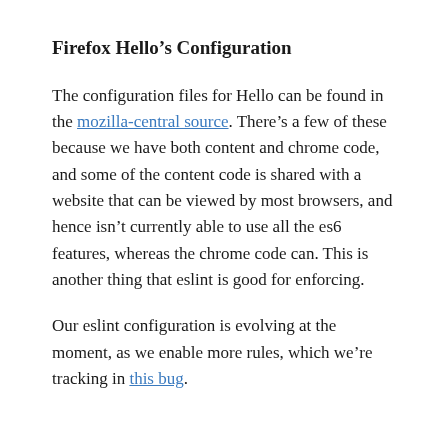Firefox Hello's Configuration
The configuration files for Hello can be found in the mozilla-central source. There's a few of these because we have both content and chrome code, and some of the content code is shared with a website that can be viewed by most browsers, and hence isn't currently able to use all the es6 features, whereas the chrome code can. This is another thing that eslint is good for enforcing.
Our eslint configuration is evolving at the moment, as we enable more rules, which we're tracking in this bug.